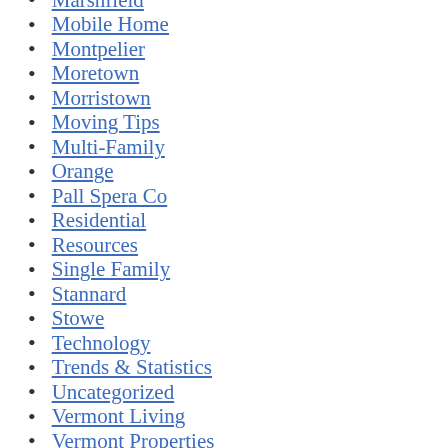Marshfield
Mobile Home
Montpelier
Moretown
Morristown
Moving Tips
Multi-Family
Orange
Pall Spera Co
Residential
Resources
Single Family
Stannard
Stowe
Technology
Trends & Statistics
Uncategorized
Vermont Living
Vermont Properties